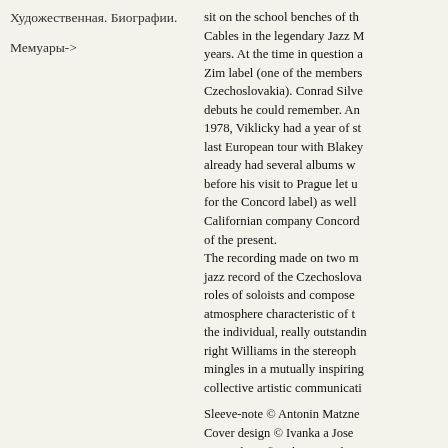Художественная. Биографии.
Мемуары->
sit on the school benches of the... Cables in the legendary Jazz... years. At the time in question... Zim label (one of the members... Czechoslovakia). Conrad Silve... debuts he could remember. An... 1978, Viklicky had a year of st... last European tour with Blakey... already had several albums w... before his visit to Prague let u... for the Concord label) as well... Californian company Concord... of the present. The recording made on two m... jazz record of the Czechoslova... roles of soloists and compose... atmosphere characteristic of t... the individual, really outstandin... right Williams in the stereoph... mingles in a mutually inspiring... collective artistic communicati...
Sleeve-note © Antonin Matzne...
Cover design © Ivanka a Jose...
Front photo © Lubos Svatek 1...
Back photo © Jarmila Rybicko...
Odpovedna redaktorka obalu...
Автор: James Williams - Emi...
ISBN: 1115 2013